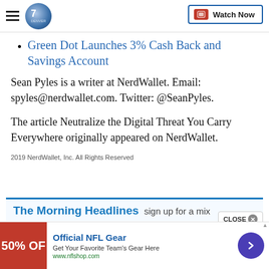Denver7 | Watch Now
Green Dot Launches 3% Cash Back and Savings Account
Sean Pyles is a writer at NerdWallet. Email: spyles@nerdwallet.com. Twitter: @SeanPyles.
The article Neutralize the Digital Threat You Carry Everywhere originally appeared on NerdWallet.
2019 NerdWallet, Inc. All Rights Reserved
[Figure (screenshot): The Morning Headlines newsletter signup box with blue top border]
[Figure (screenshot): Advertisement for Official NFL Gear - 50% Off - Get Your Favorite Team's Gear Here - www.nflshop.com]